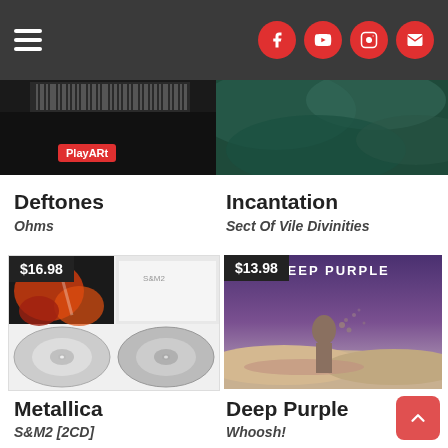Navigation header with hamburger menu and social icons (Facebook, YouTube, Instagram, Email)
[Figure (photo): Deftones Ohms album cover partial view (dark)]
[Figure (photo): Incantation Sect Of Vile Divinities album cover partial view (teal/dark)]
PlayARt
Deftones
Ohms
Incantation
Sect Of Vile Divinities
[Figure (photo): Metallica S&M2 2CD product image with price badge $16.98]
[Figure (photo): Deep Purple Whoosh! album product image with price badge $13.98]
Metallica
S&M2 [2CD]
Deep Purple
Whoosh!